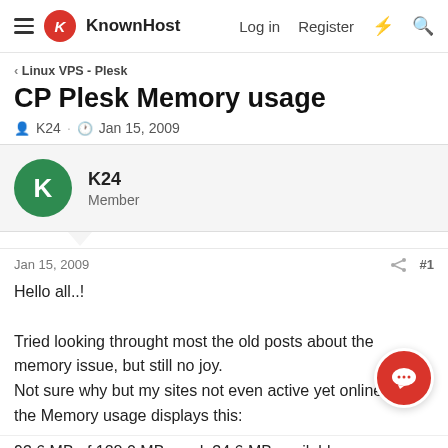KnownHost — Log in  Register
Linux VPS - Plesk
CP Plesk Memory usage
K24 · Jan 15, 2009
K24 Member
Jan 15, 2009  #1
Hello all..!

Tried looking throught most the old posts about the memory issue, but still no joy.
Not sure why but my sites not even active yet online and the Memory usage displays this:
93.6 MB of 128.0 MB used; 34.6 MB available